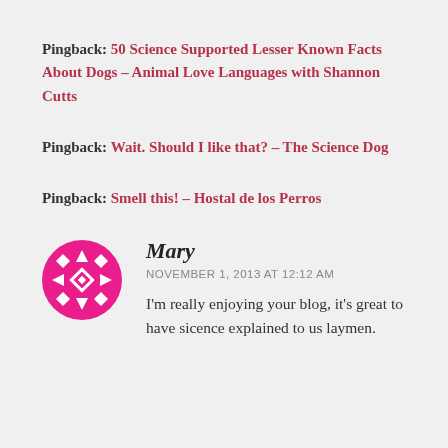Pingback: 50 Science Supported Lesser Known Facts About Dogs – Animal Love Languages with Shannon Cutts
Pingback: Wait. Should I like that? – The Science Dog
Pingback: Smell this! – Hostal de los Perros
Mary
NOVEMBER 1, 2013 AT 12:12 AM
I'm really enjoying your blog, it's great to have sicence explained to us laymen.